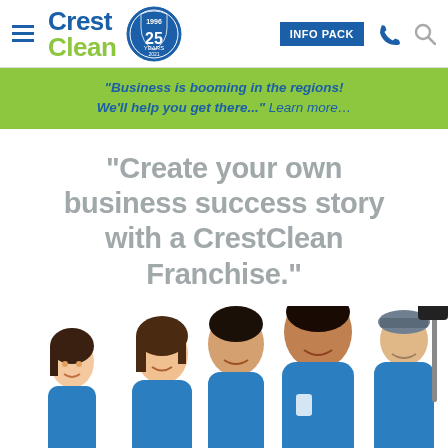CrestClean — navigation bar with logo, 25 years badge, INFO PACK button, phone icon, search icon
"Business is booming in the regions! We'll help you get there..." Learn more…
"Create your own business success story with a CrestClean Franchise."
[Figure (photo): Five CrestClean franchise workers in blue polo shirts smiling, one holding a cleaning mop/squeegee tool]